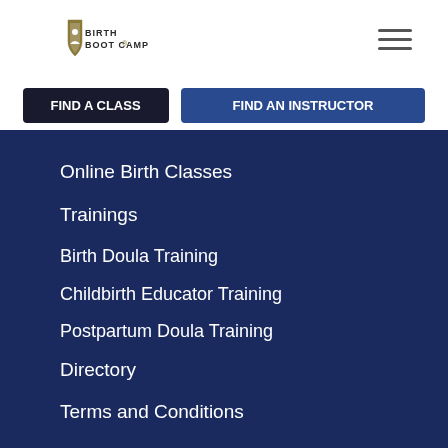[Figure (logo): Birth Boot Camp logo with shield icon and text]
[Figure (other): Hamburger menu icon (three horizontal lines)]
[Figure (other): Two navigation buttons - dark button and blue outlined button]
Online Birth Classes
Trainings
Birth Doula Training
Childbirth Educator Training
Postpartum Doula Training
Directory
Terms and Conditions